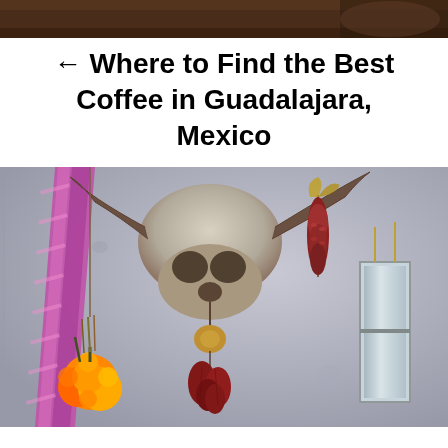[Figure (photo): Top cropped photo strip showing a dark brown wooden surface or background]
← Where to Find the Best Coffee in Guadalajara, Mexico
[Figure (photo): Photo of a decorative wall display in what appears to be a Mexican coffee shop or restaurant. A cow or bull skull is mounted on a grey textured wall. A pink and purple patterned ribbon hangs diagonally from the skull's horn on the left. Dried orange marigold flowers hang below the ribbon at the bottom left. Purple and red dried corn cobs hang from the right horn. In the center-bottom, there is a bundle of dried red peppers or chile peppers hanging. On the right side of the wall there is a rectangular mirror or window frame.]